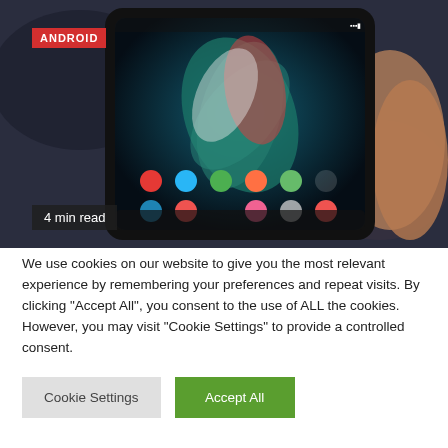[Figure (photo): Hand holding a Samsung Galaxy Z Fold foldable smartphone displaying the home screen with app icons, against a dark blurred background. A red 'ANDROID' badge appears in the top-left corner and '4 min read' text appears in the bottom-left of the image.]
We use cookies on our website to give you the most relevant experience by remembering your preferences and repeat visits. By clicking "Accept All", you consent to the use of ALL the cookies. However, you may visit "Cookie Settings" to provide a controlled consent.
Cookie Settings
Accept All